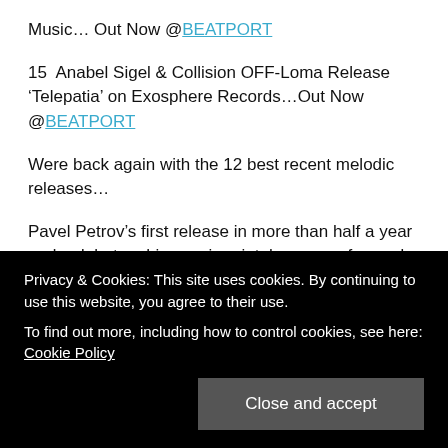Music… Out Now @BEATPORT
15  Anabel Sigel & Collision OFF-Loma Release 'Telepatia' on Exosphere Records…Out Now @BEATPORT
Were back again with the 12 best recent melodic releases…
Pavel Petrov's first release in more than half a year and a debut on his own imprint, he comes forward with a
Privacy & Cookies: This site uses cookies. By continuing to use this website, you agree to their use. To find out more, including how to control cookies, see here: Cookie Policy
at the label and an accomplished artist in his own right.